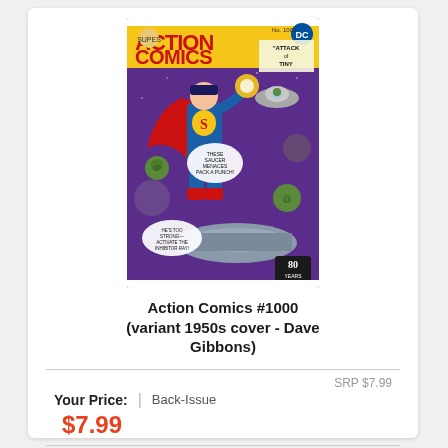[Figure (illustration): Action Comics #1000 variant comic book cover with 1950s style art by Dave Gibbons, showing Superman flying in space fighting alien saucers, with the DC logo and '80 Years' badge.]
Action Comics #1000 (variant 1950s cover - Dave Gibbons)
SRP $7.99
Your Price: | Back-Issue
$7.99